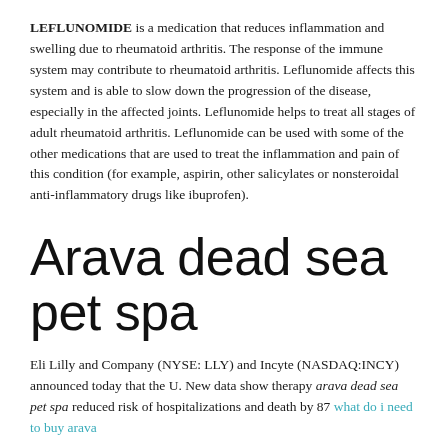LEFLUNOMIDE is a medication that reduces inflammation and swelling due to rheumatoid arthritis. The response of the immune system may contribute to rheumatoid arthritis. Leflunomide affects this system and is able to slow down the progression of the disease, especially in the affected joints. Leflunomide helps to treat all stages of adult rheumatoid arthritis. Leflunomide can be used with some of the other medications that are used to treat the inflammation and pain of this condition (for example, aspirin, other salicylates or nonsteroidal anti-inflammatory drugs like ibuprofen).
Arava dead sea pet spa
Eli Lilly and Company (NYSE: LLY) and Incyte (NASDAQ:INCY) announced today that the U. New data show therapy arava dead sea pet spa reduced risk of hospitalizations and death by 87 what do i need to buy arava